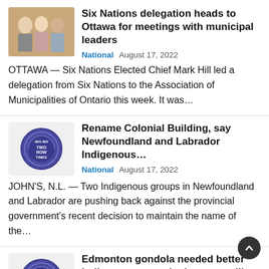Six Nations delegation heads to Ottawa for meetings with municipal leaders
National  August 17, 2022
OTTAWA — Six Nations Elected Chief Mark Hill led a delegation from Six Nations to the Association of Municipalities of Ontario this week. It was…
Rename Colonial Building, say Newfoundland and Labrador Indigenous…
National  August 17, 2022
JOHN'S, N.L. — Two Indigenous groups in Newfoundland and Labrador are pushing back against the provincial government's recent decision to maintain the name of the…
Edmonton gondola needed better Indigenous consultation, councillor say
National  August 17, 2022